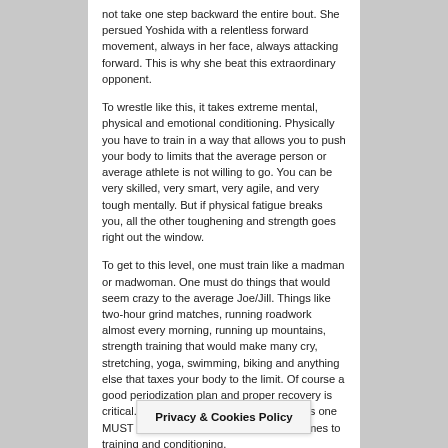not take one step backward the entire bout. She persued Yoshida with a relentless forward movement, always in her face, always attacking forward. This is why she beat this extraordinary opponent.
To wrestle like this, it takes extreme mental, physical and emotional conditioning. Physically you have to train in a way that allows you to push your body to limits that the average person or average athlete is not willing to go. You can be very skilled, very smart, very agile, and very tough mentally. But if physical fatigue breaks you, all the other toughening and strength goes right out the window.
To get to this level, one must train like a madman or madwoman. One must do things that would seem crazy to the average Joe/Jill. Things like two-hour grind matches, running roadwork almost every morning, running up mountains, strength training that would make many cry, stretching, yoga, swimming, biking and anything else that taxes your body to the limit. Of course a good periodization plan and proper recovery is critical. But the point I want to make here is one MUST have the killer mentality when it comes to training and conditioning.
The second thing I l... so many wrestlers at th...
Privacy & Cookies Policy